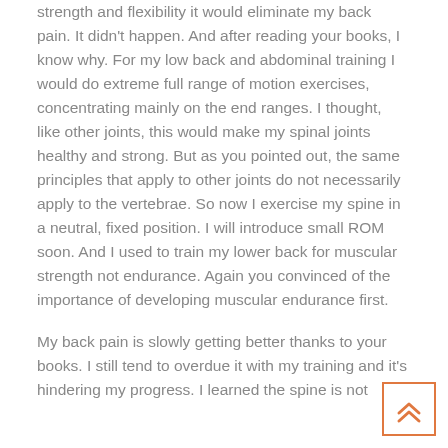strength and flexibility it would eliminate my back pain. It didn't happen. And after reading your books, I know why. For my low back and abdominal training I would do extreme full range of motion exercises, concentrating mainly on the end ranges. I thought, like other joints, this would make my spinal joints healthy and strong. But as you pointed out, the same principles that apply to other joints do not necessarily apply to the vertebrae. So now I exercise my spine in a neutral, fixed position. I will introduce small ROM soon. And I used to train my lower back for muscular strength not endurance. Again you convinced of the importance of developing muscular endurance first.
My back pain is slowly getting better thanks to your books. I still tend to overdue it with my training and it's hindering my progress. I learned the spine is not
[Figure (other): Scroll-to-top button with double upward chevron arrows in orange/coral color]